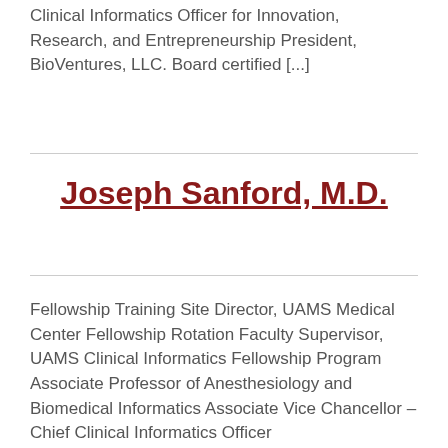Clinical Informatics Officer for Innovation, Research, and Entrepreneurship President, BioVentures, LLC. Board certified [...]
Joseph Sanford, M.D.
Fellowship Training Site Director, UAMS Medical Center Fellowship Rotation Faculty Supervisor, UAMS Clinical Informatics Fellowship Program Associate Professor of Anesthesiology and Biomedical Informatics Associate Vice Chancellor – Chief Clinical Informatics Officer